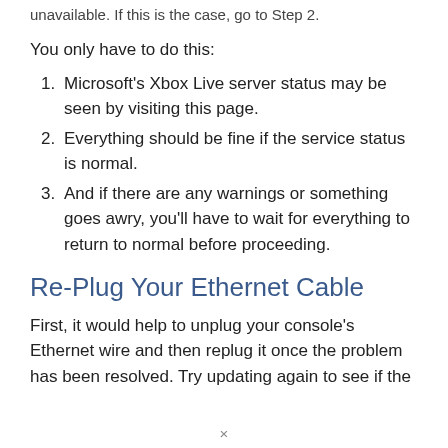unavailable. If this is the case, go to Step 2.
You only have to do this:
Microsoft's Xbox Live server status may be seen by visiting this page.
Everything should be fine if the service status is normal.
And if there are any warnings or something goes awry, you'll have to wait for everything to return to normal before proceeding.
Re-Plug Your Ethernet Cable
First, it would help to unplug your console's Ethernet wire and then replug it once the problem has been resolved. Try updating again to see if the